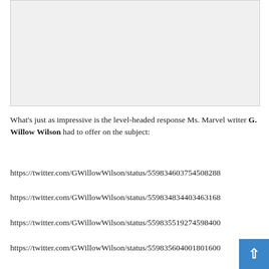[Figure (other): Light gray rectangular image placeholder area]
What's just as impressive is the level-headed response Ms. Marvel writer G. Willow Wilson had to offer on the subject:
https://twitter.com/GWillowWilson/status/559834603754508288
https://twitter.com/GWillowWilson/status/559834834403463168
https://twitter.com/GWillowWilson/status/559835519274598400
https://twitter.com/GWillowWilson/status/559835604001801600